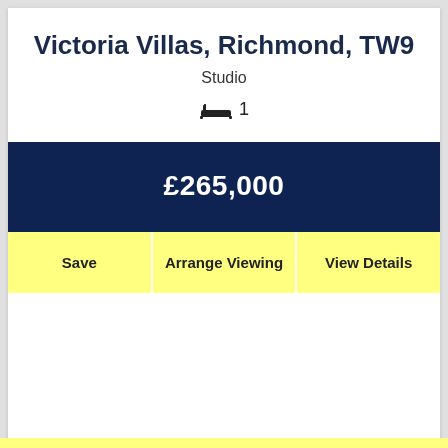Victoria Villas, Richmond, TW9
Studio
🛁 1
£265,000
Save
Arrange Viewing
View Details